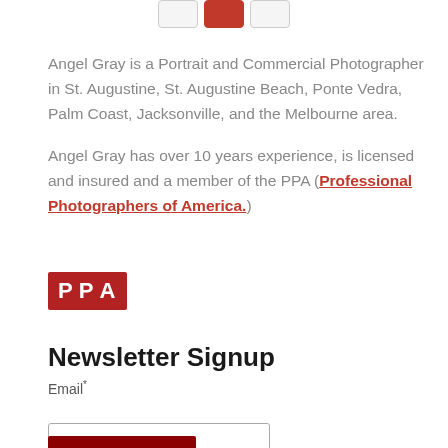[Figure (other): Three navigation buttons at the top: a light gray button, a red/active button, and a white button]
Angel Gray is a Portrait and Commercial Photographer in St. Augustine, St. Augustine Beach, Ponte Vedra, Palm Coast, Jacksonville, and the Melbourne area.
Angel Gray has over 10 years experience, is licensed and insured and a member of the PPA (Professional Photographers of America.)
[Figure (logo): PPA logo — red background with white bold letters P P A]
Newsletter Signup
Email*
[Figure (other): Email input text field (empty)]
[Figure (other): Dark red submit button]